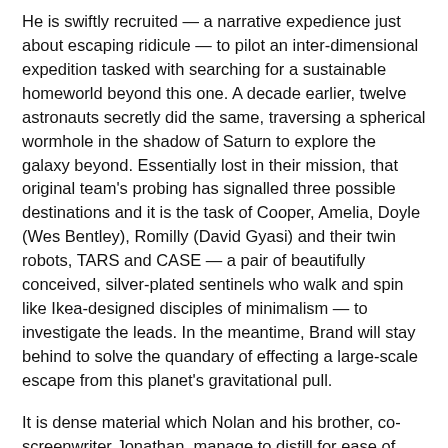He is swiftly recruited — a narrative expedience just about escaping ridicule — to pilot an inter-dimensional expedition tasked with searching for a sustainable homeworld beyond this one. A decade earlier, twelve astronauts secretly did the same, traversing a spherical wormhole in the shadow of Saturn to explore the galaxy beyond. Essentially lost in their mission, that original team's probing has signalled three possible destinations and it is the task of Cooper, Amelia, Doyle (Wes Bentley), Romilly (David Gyasi) and their twin robots, TARS and CASE — a pair of beautifully conceived, silver-plated sentinels who walk and spin like Ikea-designed disciples of minimalism — to investigate the leads. In the meantime, Brand will stay behind to solve the quandary of effecting a large-scale escape from this planet's gravitational pull.
It is dense material which Nolan and his brother, co-screenwriter Jonathan, manage to distill for ease of understanding. In truth, however, his triumph stems more from the emotion driving the picture, something which represents a remarkably heartfelt departure from an auteur best known for his cool delivery.